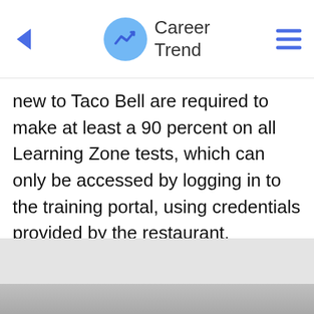Career Trend
new to Taco Bell are required to make at least a 90 percent on all Learning Zone tests, which can only be accessed by logging in to the training portal, using credentials provided by the restaurant. Employees must complete all required Learning Zone training before handling or preparing food.